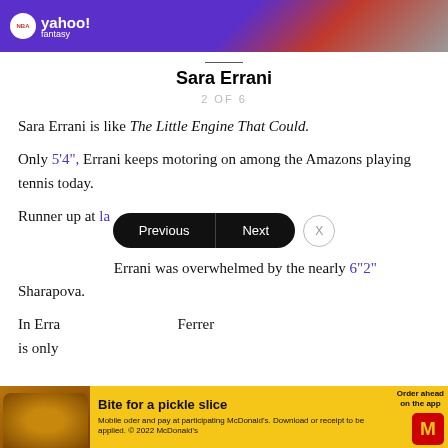[Figure (other): NBA Yahoo Fantasy advertisement banner at top of page]
Sara Errani
2 OF 6
Sara Errani is like The Little Engine That Could.
Only 5'4", Errani keeps motoring on among the Amazons playing tennis today.
Runner up at la... Errani was overwhelmed by the nearly 6"2" Sharapova.
[Figure (other): Previous/Next navigation bar with close X button]
In Erra... Ferrer is only...
[Figure (other): McDonald's Bite for a pickle slice advertisement banner]